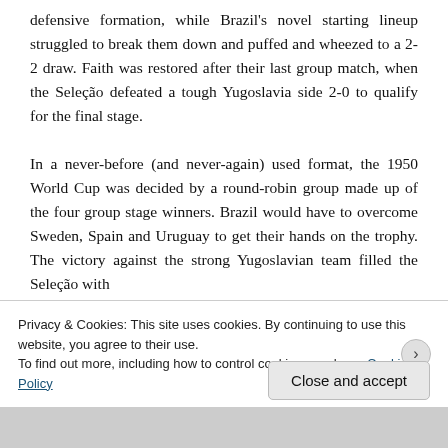defensive formation, while Brazil's novel starting lineup struggled to break them down and puffed and wheezed to a 2-2 draw. Faith was restored after their last group match, when the Seleção defeated a tough Yugoslavia side 2-0 to qualify for the final stage.

In a never-before (and never-again) used format, the 1950 World Cup was decided by a round-robin group made up of the four group stage winners. Brazil would have to overcome Sweden, Spain and Uruguay to get their hands on the trophy. The victory against the strong Yugoslavian team filled the Seleção with
Privacy & Cookies: This site uses cookies. By continuing to use this website, you agree to their use.
To find out more, including how to control cookies, see here: Cookie Policy